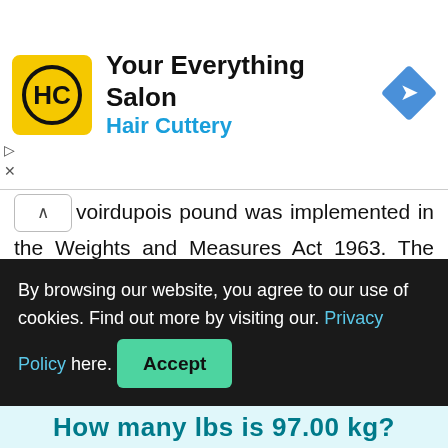[Figure (logo): Hair Cuttery advertisement banner with logo, 'Your Everything Salon' and 'Hair Cuttery' text, and a blue navigation arrow icon]
voirdupois pound was implemented in the Weights and Measures Act 1963. The definition of this unit was placed in first section of this act: “The yard or the metre shall be the unit of measurement of length and the pound or the kilogram shall be the unit of measurement of mass by reference to which any measurement involving a measurement of length or mass shall be made in the
By browsing our website, you agree to our use of cookies. Find out more by visiting our. Privacy Policy here. Accept
How many lbs is 97.00 kg?